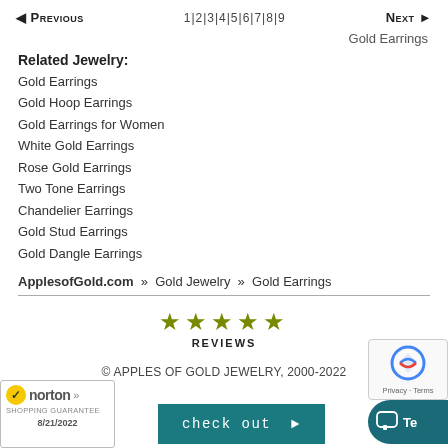◄ Previous  1|2|3|4|5|6|7|8|9  Next ►
Gold Earrings
Related Jewelry:
Gold Earrings
Gold Hoop Earrings
Gold Earrings for Women
White Gold Earrings
Rose Gold Earrings
Two Tone Earrings
Chandelier Earrings
Gold Stud Earrings
Gold Dangle Earrings
ApplesofGold.com » Gold Jewelry » Gold Earrings
[Figure (other): Five gold star rating icons with REVIEWS label below]
© APPLES OF GOLD JEWELRY, 2000-2022
[Figure (logo): Norton Shopping Guarantee badge with checkmark, dated 8/21/2022]
[Figure (other): Check out button in teal/dark cyan color with arrow]
[Figure (other): Teal chat/text button partially visible on right side]
[Figure (other): reCAPTCHA Privacy Terms badge partially visible]